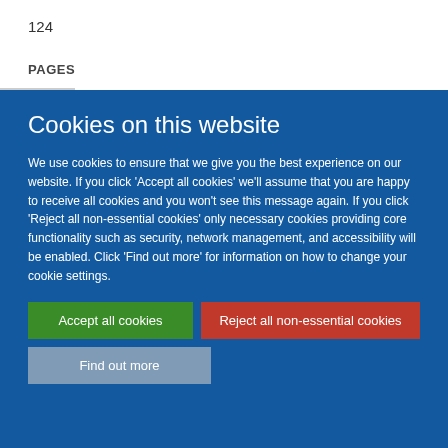124
PAGES
Cookies on this website
We use cookies to ensure that we give you the best experience on our website. If you click 'Accept all cookies' we'll assume that you are happy to receive all cookies and you won't see this message again. If you click 'Reject all non-essential cookies' only necessary cookies providing core functionality such as security, network management, and accessibility will be enabled. Click 'Find out more' for information on how to change your cookie settings.
Accept all cookies
Reject all non-essential cookies
Find out more